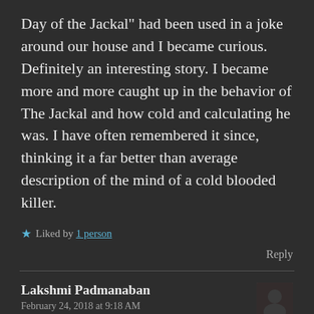Day of the Jackal" had been used in a joke around our house and I became curious. Definitely an interesting story. I became more and more caught up in the behavior of The Jackal and how cold and calculating he was. I have often remembered it since, thinking it a far better than average description of the mind of a cold blooded killer.
★ Liked by 1 person
Reply
Lakshmi Padmanaban
February 24, 2018 at 9:18 AM
That's a happy good reason to read it. Yes, I too became engrossed in his thoughts at random times